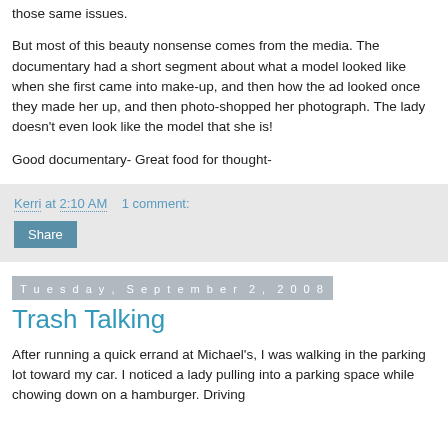those same issues.
But most of this beauty nonsense comes from the media. The documentary had a short segment about what a model looked like when she first came into make-up, and then how the ad looked once they made her up, and then photo-shopped her photograph. The lady doesn't even look like the model that she is!
Good documentary- Great food for thought-
Kerri at 2:10 AM    1 comment:
Share
Tuesday, September 2, 2008
Trash Talking
After running a quick errand at Michael's, I was walking in the parking lot toward my car. I noticed a lady pulling into a parking space while chowing down on a hamburger. Driving...